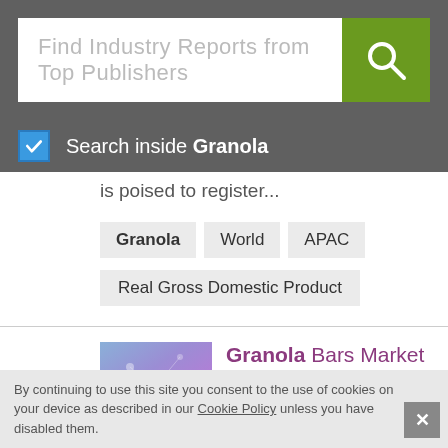[Figure (screenshot): Search bar with placeholder text 'Find Industry Reports from Top Publishers' and green search button with magnifying glass icon]
Search inside Granola
is poised to register...
Granola  World  APAC
Real Gross Domestic Product
[Figure (illustration): Market Report book cover with blue/purple abstract network graphic]
Granola Bars Market Report - Industry Size, Competition, Trends and Growth
By continuing to use this site you consent to the use of cookies on your device as described in our Cookie Policy unless you have disabled them.